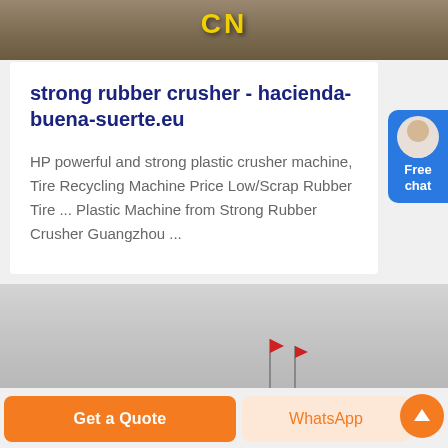[Figure (photo): Top banner image showing construction site with yellow CN text]
strong rubber crusher - hacienda-buena-suerte.eu
HP powerful and strong plastic crusher machine, Tire Recycling Machine Price Low/Scrap Rubber Tire ... Plastic Machine from Strong Rubber Crusher Guangzhou ...
[Figure (photo): Bottom image showing overcast sky with small flags visible]
Get a Quote
WhatsApp